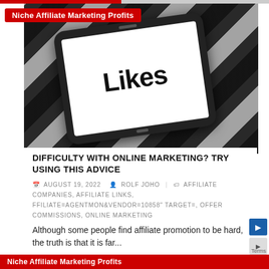[Figure (photo): Smartphone displaying the word 'Likes' in bold black text on white screen, placed on striped black and white diagonal stripes background]
Niche Affiliate Marketing Profits
DIFFICULTY WITH ONLINE MARKETING? TRY USING THIS ADVICE
AUGUST 19, 2022   ROLF JOHO   AFFILIATE COMPANIES, AFFILIATE LINKS, FFILIATE=AGENTMON&VENDOR=10858" TARGET=, OFFER COMMISSIONS, ONLINE MARKETING
Although some people find affiliate promotion to be hard, the truth is that it is far...
Niche Affiliate Marketing Profits